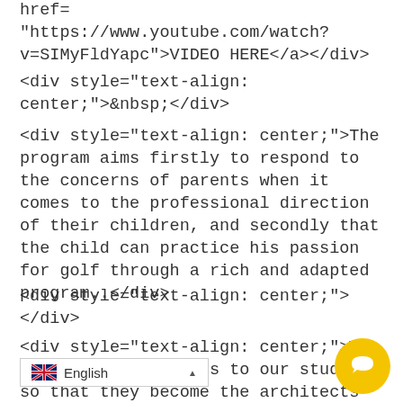href="https://www.youtube.com/watch?v=SIMyFldYapc">VIDEO HERE</a></div>
<div style="text-align: center;">&nbsp;</div>
<div style="text-align: center;">The program aims firstly to respond to the concerns of parents when it comes to the professional direction of their children, and secondly that the child can practice his passion for golf through a rich and adapted program..</div>
<div style="text-align: center;"></div>
<div style="text-align: center;">We provide all the keys to our students so that they become the architects of their own destiny by giving all the very high level mental, sporting hey will need!</div>
English